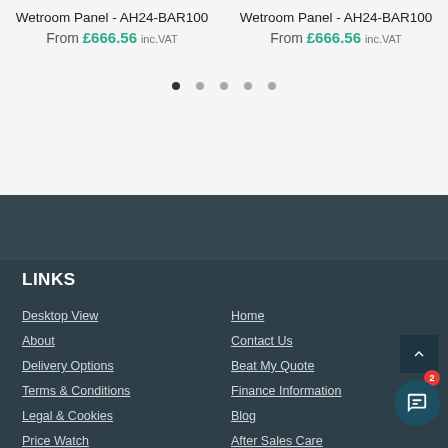Wetroom Panel - AH24-BAR100 From £666.56 inc.VAT
Wetroom Panel - AH24-BAR100 From £666.56 inc.VAT
LINKS
Desktop View
Home
About
Contact Us
Delivery Options
Beat My Quote
Terms & Conditions
Finance Information
Legal & Cookies
Blog
Price Watch
After Sales Care
UK Home Living